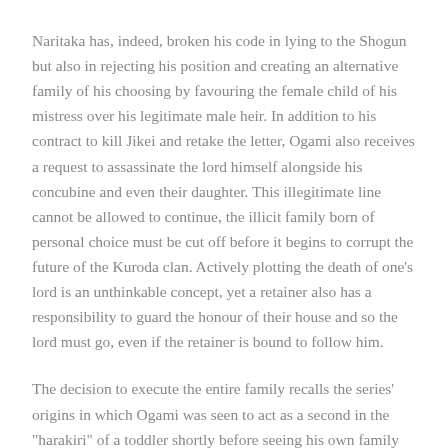Naritaka has, indeed, broken his code in lying to the Shogun but also in rejecting his position and creating an alternative family of his choosing by favouring the female child of his mistress over his legitimate male heir. In addition to his contract to kill Jikei and retake the letter, Ogami also receives a request to assassinate the lord himself alongside his concubine and even their daughter. This illegitimate line cannot be allowed to continue, the illicit family born of personal choice must be cut off before it begins to corrupt the future of the Kuroda clan. Actively plotting the death of one's lord is an unthinkable concept, yet a retainer also has a responsibility to guard the honour of their house and so the lord must go, even if the retainer is bound to follow him.
The decision to execute the entire family recalls the series' origins in which Ogami was seen to act as a second in the "harakiri" of a toddler shortly before seeing his own family fall under the sword of a Yagyu plot. Daigoro is growing older at an unnatural rate but